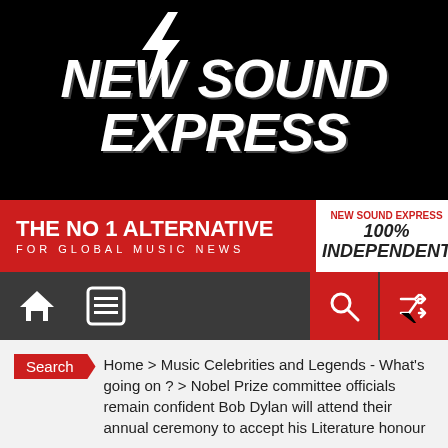[Figure (logo): New Sound Express logo with lightning bolt on black background]
[Figure (infographic): Red banner: THE NO 1 ALTERNATIVE FOR GLOBAL MUSIC NEWS / NEW SOUND EXPRESS 100% INDEPENDENT]
[Figure (screenshot): Navigation bar with home, menu, search, and shuffle icons on dark background]
Search Home > Music Celebrities and Legends - What's going on ? > Nobel Prize committee officials remain confident Bob Dylan will attend their annual ceremony to accept his Literature honour